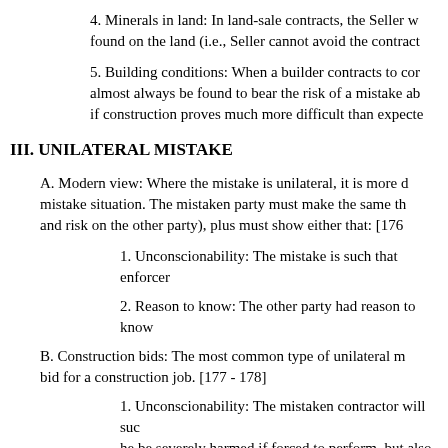4. Minerals in land: In land-sale contracts, the Seller w found on the land (i.e., Seller cannot avoid the contract
5. Building conditions: When a builder contracts to cor almost always be found to bear the risk of a mistake ab if construction proves much more difficult than expecte
III. UNILATERAL MISTAKE
A. Modern view: Where the mistake is unilateral, it is more d mistake situation. The mistaken party must make the same th and risk on the other party), plus must show either that: [176
1. Unconscionability: The mistake is such that enforcer
2. Reason to know: The other party had reason to know
B. Construction bids: The most common type of unilateral m bid for a construction job. [177 - 178]
1. Unconscionability: The mistaken contractor will suc he be severely harmed if forced to perform, but also tha
Example: Sub-contractor gives contractor a bid of $50, master bid for the entire project. Contractor gets the co contractor then discovers that his $50,000 bid should h